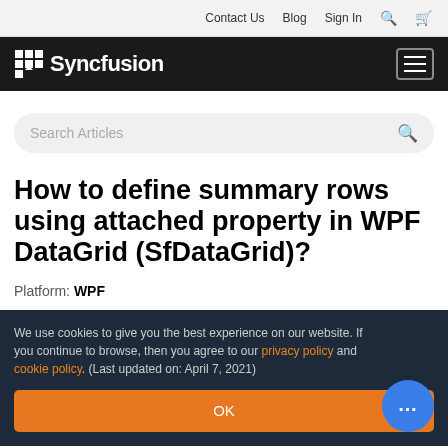Contact Us  Blog  Sign In
Syncfusion
Search Articles
How to define summary rows using attached property in WPF DataGrid (SfDataGrid)?
Platform: WPF
We use cookies to give you the best experience on our website. If you continue to browse, then you agree to our privacy policy and cookie policy. (Last updated on: April 7, 2021)
OK